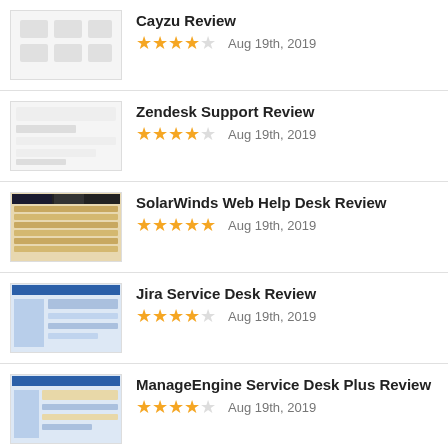Cayzu Review — ★★★★☆ Aug 19th, 2019
Zendesk Support Review — ★★★★☆ Aug 19th, 2019
SolarWinds Web Help Desk Review — ★★★★★ Aug 19th, 2019
Jira Service Desk Review — ★★★★☆ Aug 19th, 2019
ManageEngine Service Desk Plus Review — ★★★★☆ Aug 19th, 2019
Freshdesk Review — ★★★★★ Aug 19th, 2019